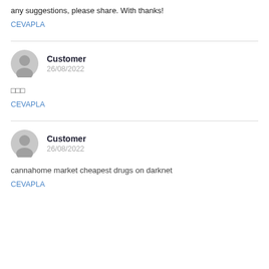any suggestions, please share. With thanks!
CEVAPLA
Customer
26/08/2022
□□□
CEVAPLA
Customer
26/08/2022
cannahome market cheapest drugs on darknet
CEVAPLA